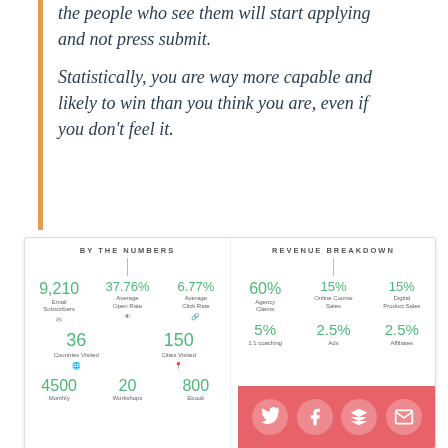the people who see them will start applying and not press submit.
Statistically, you are way more capable and likely to win than you think you are, even if you don't feel it.
[Figure (infographic): Two-panel infographic. Left panel: 'BY THE NUMBERS' with stats: 9,210 Email Subscribers, 37.76% Average Open Rate, 6.77% Average Click Rate, 36 Countries Visited, 150 Cities Visited, 4500 Monthly [subscribers], 20 Workshops, 800 Ebook [sales]. Right panel: 'REVENUE BREAKDOWN' with: 60% Agency Clients, 15% Online Course Sales, 15% Digital Product Sales, 5% 1:1 coaching, 2.5% Ads, 2.5% Affiliates. Bottom right has social media icons on a red/coral background.]